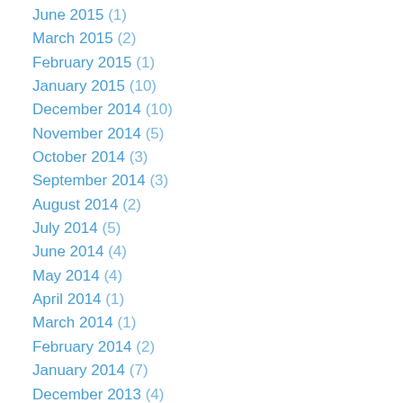June 2015 (1)
March 2015 (2)
February 2015 (1)
January 2015 (10)
December 2014 (10)
November 2014 (5)
October 2014 (3)
September 2014 (3)
August 2014 (2)
July 2014 (5)
June 2014 (4)
May 2014 (4)
April 2014 (1)
March 2014 (1)
February 2014 (2)
January 2014 (7)
December 2013 (4)
November 2013 (3)
October 2013 (3)
September 2013 (4)